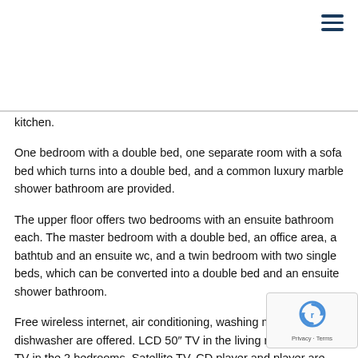[Figure (other): Hamburger menu icon (three horizontal dark blue lines) in the top right corner]
kitchen.
One bedroom with a double bed, one separate room with a sofa bed which turns into a double bed, and a common luxury marble shower bathroom are provided.
The upper floor offers two bedrooms with an ensuite bathroom each. The master bedroom with a double bed, an office area, a bathtub and an ensuite wc, and a twin bedroom with two single beds, which can be converted into a double bed and an ensuite shower bathroom.
Free wireless internet, air conditioning, washing machine and dishwasher are offered. LCD 50″ TV in the living room, LCD 32″ TV in the 2 bedrooms, Satellite TV, CD player and player are also provided.
[Figure (logo): reCAPTCHA logo with Privacy and Terms text]